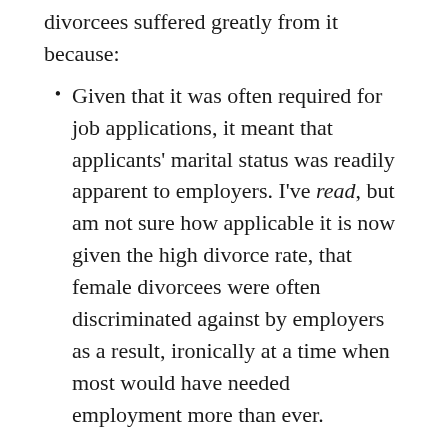divorcees suffered greatly from it because:
Given that it was often required for job applications, it meant that applicants' marital status was readily apparent to employers. I've read, but am not sure how applicable it is now given the high divorce rate, that female divorcees were often discriminated against by employers as a result, ironically at a time when most would have needed employment more than ever.
Custody of children was overwhelmingly awarded to fathers; after all, the women were no longer part